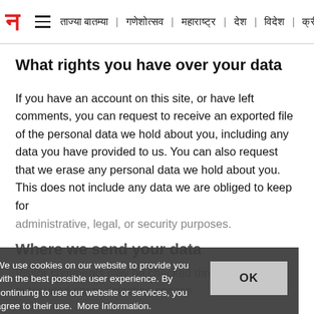न | ताज्या बातम्या | गणेशोत्सव | महाराष्ट्र | देश | विदेश | क्री
What rights you have over your data
If you have an account on this site, or have left comments, you can request to receive an exported file of the personal data we hold about you, including any data you have provided to us. You can also request that we erase any personal data we hold about you. This does not include any data we are obliged to keep for administrative, legal, or security purposes.
Where we send your data
Visitor comments may be checked through an automated spam detection service.
We use cookies on our website to provide you with the best possible user experience. By continuing to use our website or services, you agree to their use.  More Information.